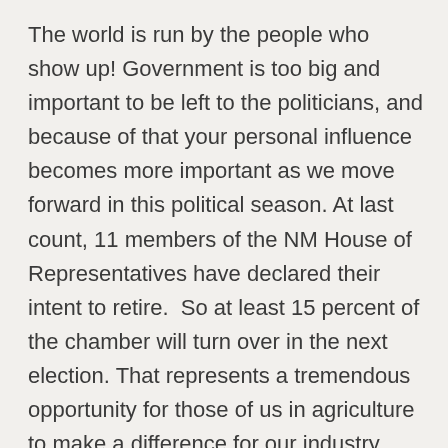The world is run by the people who show up! Government is too big and important to be left to the politicians, and because of that your personal influence becomes more important as we move forward in this political season. At last count, 11 members of the NM House of Representatives have declared their intent to retire.  So at least 15 percent of the chamber will turn over in the next election. That represents a tremendous opportunity for those of us in agriculture to make a difference for our industry.  We can help elect lawmakers who understand our issues and will work to defend food production in New Mexico and if possible put some more boots under the table. If you don't wish to run for office yourself then please volunteer to help with campaigns, use your on-line and in-person social networks to inform your friends and neighbors about desirable candidates, and then offer them a ride on election day. HB51 was not a slam dunk. It